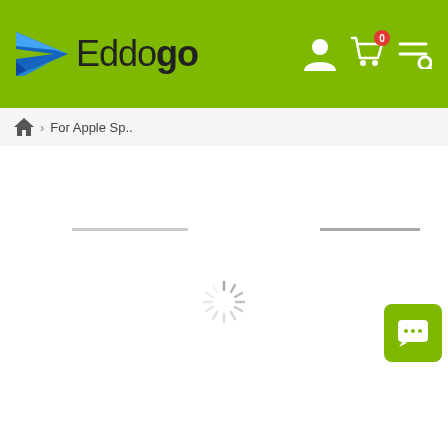[Figure (logo): Eddogo e-commerce website header with green background, paper plane logo, and navigation icons]
For Apple Sp..
[Figure (other): Loading spinner shown in center of page while products load]
[Figure (other): Green chat button with speech bubble icon in bottom right corner]